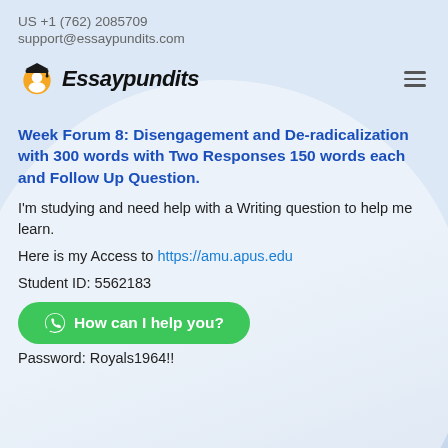US +1 (762) 2085709
support@essaypundits.com
[Figure (logo): Essaypundits logo: graduation cap icon with orange circle and figure, italic bold text 'Essaypundits']
Week Forum 8: Disengagement and De-radicalization with 300 words with Two Responses 150 words each and Follow Up Question.
I'm studying and need help with a Writing question to help me learn.
Here is my Access to https://amu.apus.edu
Student ID: 5562183
[Figure (infographic): Green chat button: 'How can I help you?' with WhatsApp icon]
Password: Royals1964!!